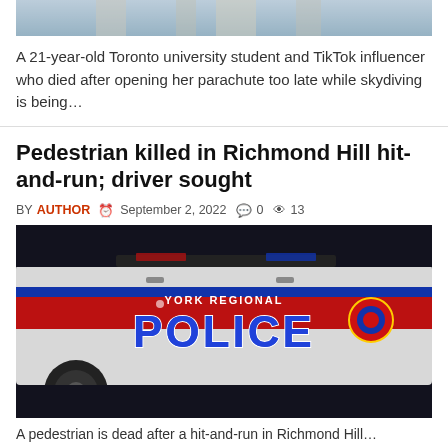[Figure (photo): Top of page: partial image of a person with blonde hair against a blue background, cropped at top]
A 21-year-old Toronto university student and TikTok influencer who died after opening her parachute too late while skydiving is being…
Pedestrian killed in Richmond Hill hit-and-run; driver sought
BY AUTHOR  September 2, 2022  0  13
[Figure (photo): York Regional Police car with red and blue stripe and 'POLICE' lettering in large blue text, dark background]
A pedestrian is dead after a hit-and-run in Richmond Hill...